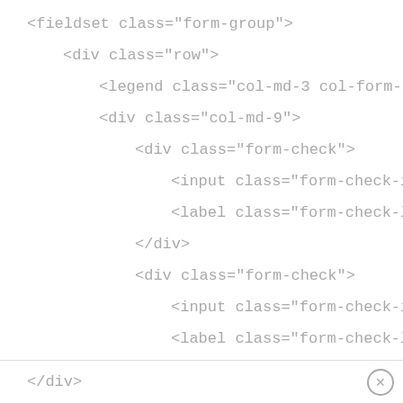<fieldset class="form-group">
<div class="row">
<legend class="col-md-3 col-form-label pt-0">User'
<div class="col-md-9">
<div class="form-check">
<input class="form-check-input" type="radio" n
<label class="form-check-label" for="daily">I wa
</div>
<div class="form-check">
<input class="form-check-input" type="radio" n
<label class="form-check-label" for="weekly">I
</div>